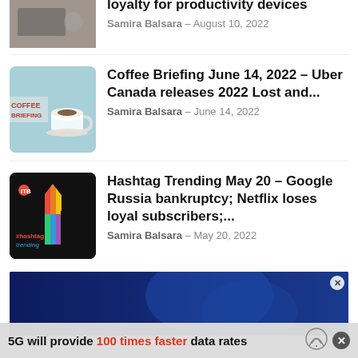loyalty for productivity devices
Samira Balsara - August 10, 2022
Coffee Briefing June 14, 2022 – Uber Canada releases 2022 Lost and...
Samira Balsara - June 14, 2022
Hashtag Trending May 20 – Google Russia bankruptcy; Netflix loses loyal subscribers;...
Samira Balsara - May 20, 2022
[Figure (photo): Blue advertisement banner with dark background]
5G will provide 100 times faster data rates